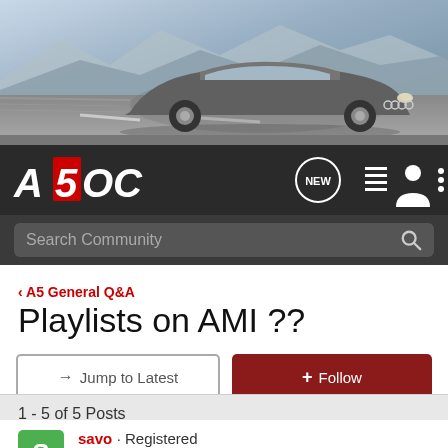[Figure (photo): Audi RS5 sports car driving on a road, front three-quarter view, grey color, motion blur background]
[Figure (logo): A5OC forum logo in white and red on dark background with navigation icons including NEW badge, list icon, user icon, and menu dots]
Search Community
< A5 General Q&A
Playlists on AMI ??
→ Jump to Latest
+ Follow
1 - 5 of 5 Posts
savo · Registered
Joined Apr 7, 2008 · 113 Posts